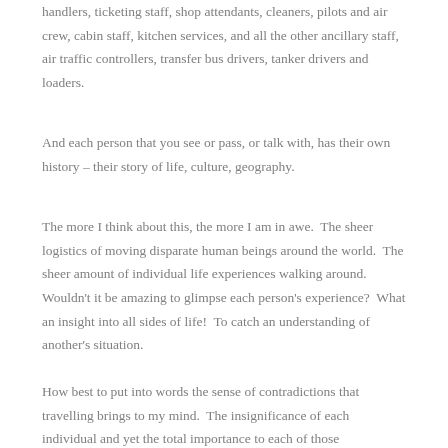handlers, ticketing staff, shop attendants, cleaners, pilots and air crew, cabin staff, kitchen services, and all the other ancillary staff, air traffic controllers, transfer bus drivers, tanker drivers and loaders.
And each person that you see or pass, or talk with, has their own history – their story of life, culture, geography.
The more I think about this, the more I am in awe.  The sheer logistics of moving disparate human beings around the world.  The sheer amount of individual life experiences walking around.  Wouldn't it be amazing to glimpse each person's experience?  What an insight into all sides of life!  To catch an understanding of another's situation.
How best to put into words the sense of contradictions that travelling brings to my mind.  The insignificance of each individual and yet the total importance to each of those individuals.  Each